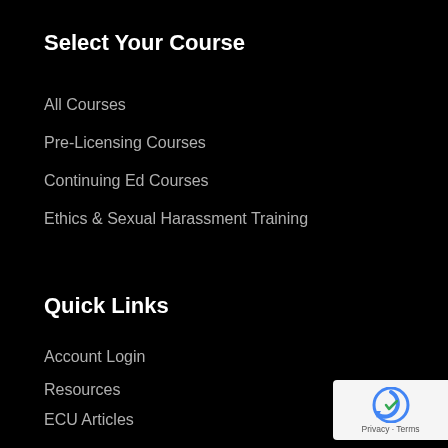Select Your Course
All Courses
Pre-Licensing Courses
Continuing Ed Courses
Ethics & Sexual Harassment Training
Quick Links
Account Login
Resources
ECU Articles
Who We Are
Contact